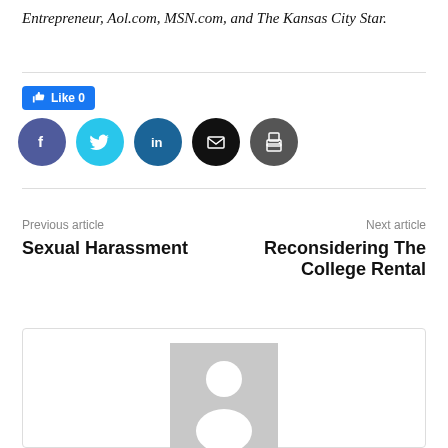Entrepreneur, Aol.com, MSN.com, and The Kansas City Star.
[Figure (infographic): Social sharing bar with Facebook Like button (Like 0) and five circular social media icons: Facebook (purple), Twitter (cyan), LinkedIn (dark blue), Email (black), Print (dark gray)]
Previous article
Sexual Harassment
Next article
Reconsidering The College Rental
[Figure (photo): Author avatar placeholder: a gray rectangle with a white silhouette of a person (head and shoulders)]